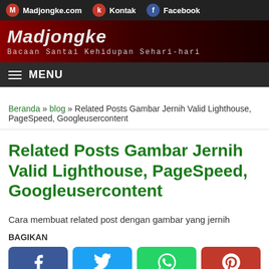Madjongke.com | Kontak | Facebook
Madjongke
Bacaan Santai Kehidupan Sehari-hari
MENU
Beranda » blog » Related Posts Gambar Jernih Valid Lighthouse, PageSpeed, Googleusercontent
Related Posts Gambar Jernih Valid Lighthouse, PageSpeed, Googleusercontent
Cara membuat related post dengan gambar yang jernih
BAGIKAN